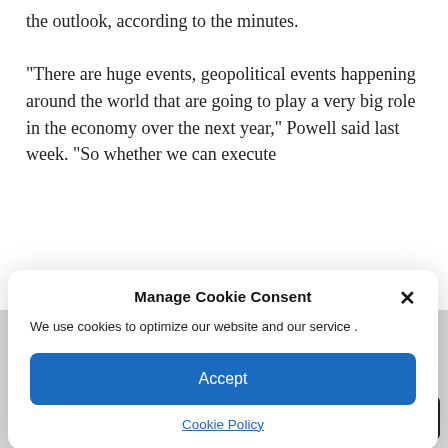the outlook, according to the minutes.

“There are huge events, geopolitical events happening around the world that are going to play a very big role in the economy over the next year,” Powell said last week. “So whether we can execute
Manage Cookie Consent
We use cookies to optimize our website and our service .
Accept
Cookie Policy